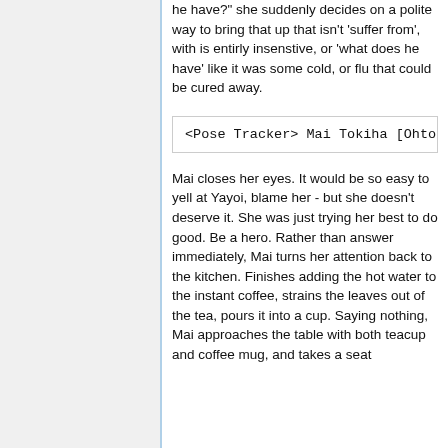he have?" she suddenly decides on a polite way to bring that up that isn't 'suffer from', with is entirly insenstive, or 'what does he have' like it was some cold, or flu that could be cured away.
<Pose Tracker> Mai Tokiha [Ohto
Mai closes her eyes. It would be so easy to yell at Yayoi, blame her - but she doesn't deserve it. She was just trying her best to do good. Be a hero. Rather than answer immediately, Mai turns her attention back to the kitchen. Finishes adding the hot water to the instant coffee, strains the leaves out of the tea, pours it into a cup. Saying nothing, Mai approaches the table with both teacup and coffee mug, and takes a seat